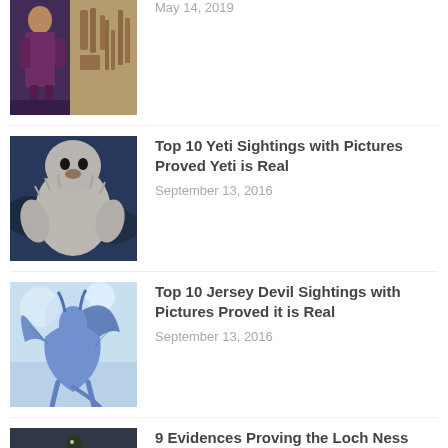[Figure (photo): Woman in purple robe and Egyptian hieroglyphic stone relief]
May 14, 2019
[Figure (photo): Large white furry yeti creature]
Top 10 Yeti Sightings with Pictures Proved Yeti is Real
September 13, 2016
[Figure (photo): Blue dragon-like Jersey Devil creature illustration]
Top 10 Jersey Devil Sightings with Pictures Proved it is Real
September 13, 2016
[Figure (photo): Loch Ness monster in dark misty water]
9 Evidences Proving the Loch Ness Monster is Real
September 14, 2016
[Figure (photo): Animal partially visible in tropical foliage]
10 Evidences Proof the Mokele Mbembe